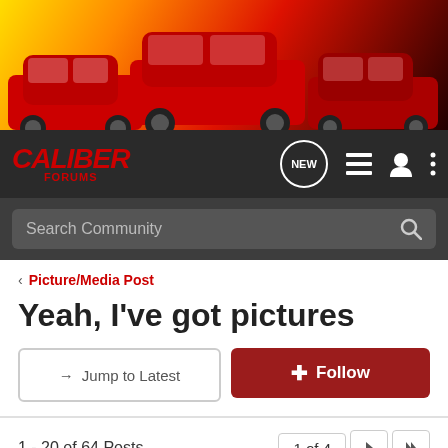[Figure (photo): Hero banner showing three red Dodge Caliber cars on a colorful gradient background]
[Figure (logo): Caliber Forums logo in red italic bold text with 'FORUMS' subtitle, on dark navigation bar with NEW badge, list icon, person icon, and more icon]
Search Community
< Picture/Media Post
Yeah, I've got pictures
→ Jump to Latest
+ Follow
1 - 20 of 64 Posts
1 of 4
Silverfox · Registered